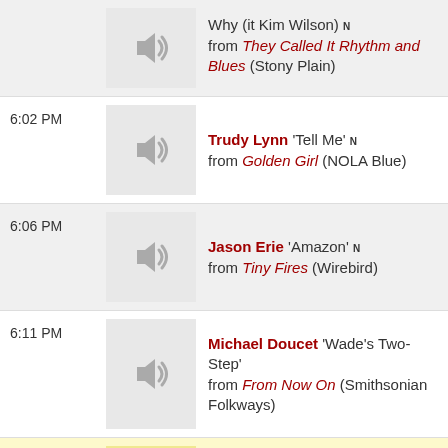Why (it Kim Wilson) N — from They Called It Rhythm and Blues (Stony Plain)
6:02 PM — Trudy Lynn 'Tell Me' N from Golden Girl (NOLA Blue)
6:06 PM — Jason Erie 'Amazon' N from Tiny Fires (Wirebird)
6:11 PM — Michael Doucet 'Wade's Two-Step' from From Now On (Smithsonian Folkways)
6:14 PM — Flaco Jiménez 'Marina' from Partners
6:17 PM — JIMMIE BRATCHER 'You Are My Sunshine' from This Is Blues Country